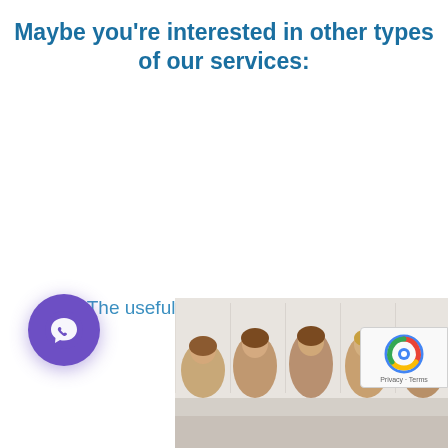Maybe you're interested in other types of our services:
The useful consultations for your business
[Figure (photo): Group photo of five professional women in an office setting, shown from shoulders up, positioned in the bottom portion of the page]
[Figure (logo): Viber icon button — purple circular button with white Viber phone handset icon]
[Figure (logo): Google reCAPTCHA badge with blue/red/grey logo and Privacy · Terms text]